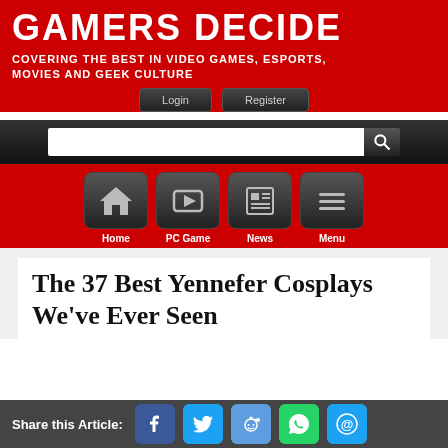GAMERS DECIDE
COVERING THE BEST IN VIDEO GAMES, ESPORTS, MOVIES AND GEEK CULTURE
[Figure (screenshot): Website header with Login and Register buttons, search bar, and navigation icons for Home, PC Game, News, Menu]
The 37 Best Yennefer Cosplays We've Ever Seen
Share this Article: